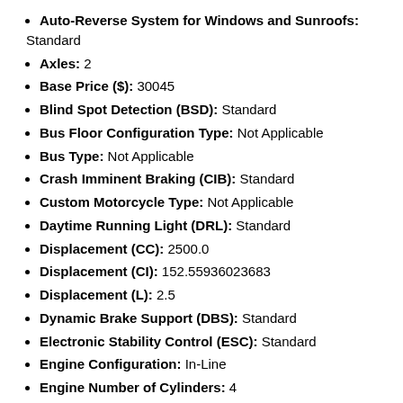Auto-Reverse System for Windows and Sunroofs: Standard
Axles: 2
Base Price ($): 30045
Blind Spot Detection (BSD): Standard
Bus Floor Configuration Type: Not Applicable
Bus Type: Not Applicable
Crash Imminent Braking (CIB): Standard
Custom Motorcycle Type: Not Applicable
Daytime Running Light (DRL): Standard
Displacement (CC): 2500.0
Displacement (CI): 152.55936023683
Displacement (L): 2.5
Dynamic Brake Support (DBS): Standard
Electronic Stability Control (ESC): Standard
Engine Configuration: In-Line
Engine Number of Cylinders: 4
Engine Brake (hp): 187
Engine Power (KW): 139.4459